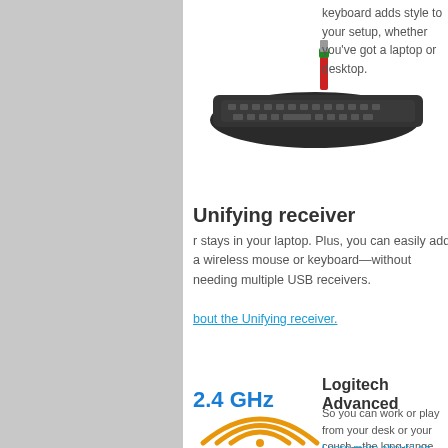[Figure (photo): Product photo of a slim wireless keyboard with a small red/green USB receiver dongle standing upright on top of it, against a white background.]
keyboard adds style to your setup, whether you've got a laptop or desktop.
Unifying receiver
r stays in your laptop. Plus, you can easily add a wireless mouse or keyboard—without needing multiple USB receivers.
bout the Unifying receiver.
[Figure (illustration): 2.4 GHz wireless signal illustration: text '2.4 GHz' in blue above orange wifi-style arc waves radiating upward, on white background.]
Logitech Advanced
So you can work or play from your desk or your couch—the long-range wireless connection eliminates delays, dropo
Learn more about Log